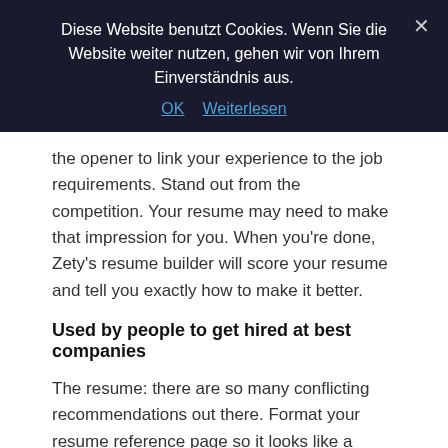Diese Website benutzt Cookies. Wenn Sie die Website weiter nutzen, gehen wir von Ihrem Einverständnis aus.
OK   Weiterlesen
the opener to link your experience to the job requirements. Stand out from the competition. Your resume may need to make that impression for you. When you're done, Zety's resume builder will score your resume and tell you exactly how to make it better.
Used by people to get hired at best companies
The resume: there are so many conflicting recommendations out there. Format your resume reference page so it looks like a pulled together, professional document with this simple trick. If you extract the essence from the job description above, you'll end up with the following list of skills. To edit your USAJOBS resume builder resume. Now that you know how to complete